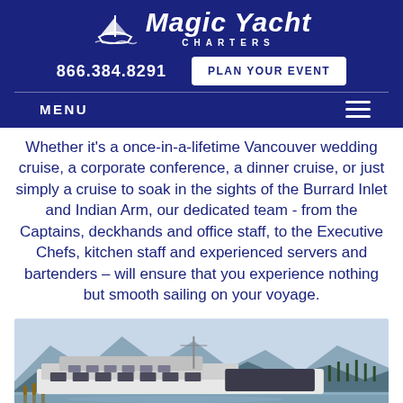[Figure (logo): Magic Yacht Charters logo with yacht icon and white text on dark blue background]
866.384.8291   PLAN YOUR EVENT
MENU
Whether it's a once-in-a-lifetime Vancouver wedding cruise, a corporate conference, a dinner cruise, or just simply a cruise to soak in the sights of the Burrard Inlet and Indian Arm, our dedicated team - from the Captains, deckhands and office staff, to the Executive Chefs, kitchen staff and experienced servers and bartenders – will ensure that you experience nothing but smooth sailing on your voyage.
[Figure (photo): A large white charter yacht moored at a marina with mountains and trees visible in the background]